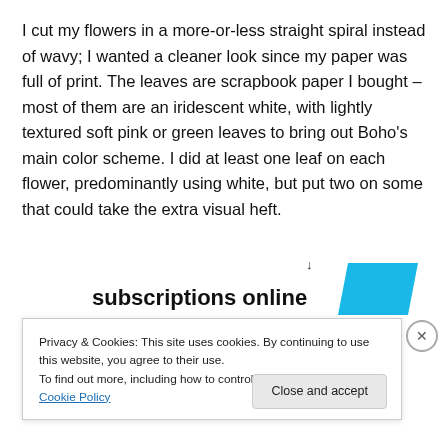I cut my flowers in a more-or-less straight spiral instead of wavy; I wanted a cleaner look since my paper was full of print. The leaves are scrapbook paper I bought – most of them are an iridescent white, with lightly textured soft pink or green leaves to bring out Boho's main color scheme. I did at least one leaf on each flower, predominantly using white, but put two on some that could take the extra visual heft.
[Figure (other): Partial advertisement banner showing 'subscriptions online' text in bold with a cyan/blue parallelogram shape to the right]
Privacy & Cookies: This site uses cookies. By continuing to use this website, you agree to their use.
To find out more, including how to control cookies, see here: Cookie Policy